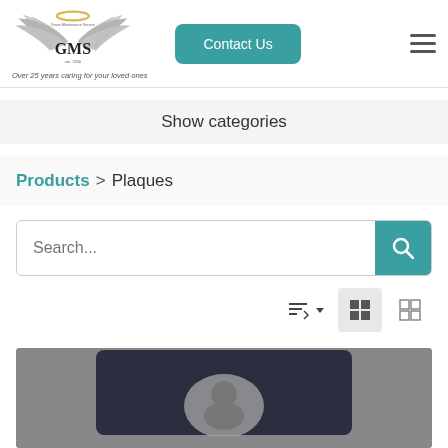[Figure (logo): GMS (Grave Maintenance Service) logo with angel wings and gold halo, est. 1994]
Over 25 years caring for your loved ones
Contact Us
[Figure (illustration): Hamburger menu icon (three horizontal lines)]
Show categories
Products > Plaques
Search...
[Figure (screenshot): Sort and grid/list view toggle controls]
[Figure (photo): Product photo of a dark plaque with a photo insert showing a person, partially visible]